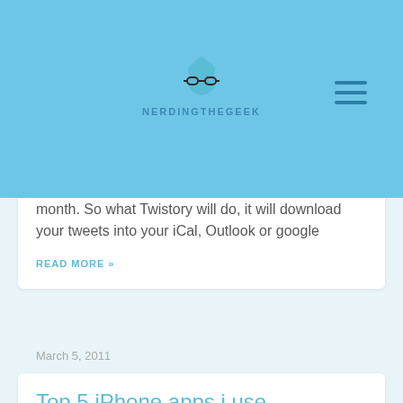[Figure (logo): NerdingTheGeek blog logo with blue flame/crown icon and glasses, with hamburger menu icon on the right]
month. So what Twistory will do, it will download your tweets into your iCal, Outlook or google
READ MORE »
March 5, 2011
Top 5 iPhone apps i use
So, first up, I must come clean and advise I have an addiction to iPhone apps! It doesn't matter if they are paid ones or freebies, I just got to have the latest and greatest! My poor credit card gets a